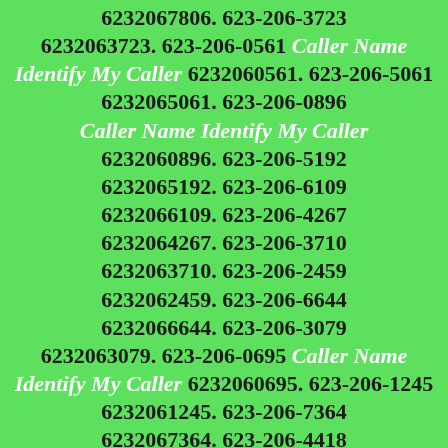6232067806. 623-206-3723 6232063723. 623-206-0561 Caller Name Identify My Caller 6232060561. 623-206-5061 6232065061. 623-206-0896 Caller Name Identify My Caller 6232060896. 623-206-5192 6232065192. 623-206-6109 6232066109. 623-206-4267 6232064267. 623-206-3710 6232063710. 623-206-2459 6232062459. 623-206-6644 6232066644. 623-206-3079 6232063079. 623-206-0695 Caller Name Identify My Caller 6232060695. 623-206-1245 6232061245. 623-206-7364 6232067364. 623-206-4418 6232064418. 623-206-4099 6232064099. 623-206-2452 6232062452. 623-206-5991 6232065991. 623-206-1449 6232061449. 623-206-5058 6232065058. 623-206-5259 6232065259. 623-206-1792 6232061792. 623-206-7912 6232067912. 623-206-2173